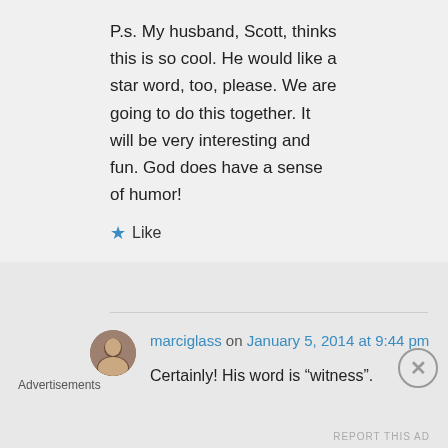P.s. My husband, Scott, thinks this is so cool. He would like a star word, too, please. We are going to do this together. It will be very interesting and fun. God does have a sense of humor!
★ Like
marciglass on January 5, 2014 at 9:44 pm
Certainly! His word is "witness".
Advertisements